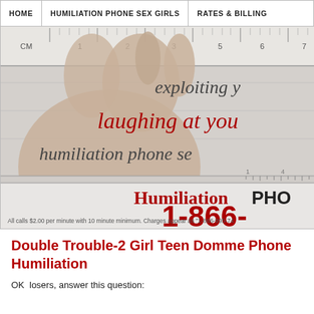HOME | HUMILIATION PHONE SEX GIRLS | RATES & BILLING
[Figure (photo): Banner image showing a hand making a small pinching gesture over a ruler, with overlaid cursive text reading 'exploiting y', 'laughing at you', 'humiliation phone se', and the logo 'HumiliationPHO' with phone number '1-866-' and fine print about call rates.]
Double Trouble-2 Girl Teen Domme Phone Humiliation
OK  losers, answer this question: